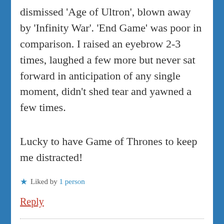dismissed 'Age of Ultron', blown away by 'Infinity War'. 'End Game' was poor in comparison. I raised an eyebrow 2-3 times, laughed a few more but never sat forward in anticipation of any single moment, didn't shed tear and yawned a few times.
Lucky to have Game of Thrones to keep me distracted!
★ Liked by 1 person
Reply
Screen Zealots says: